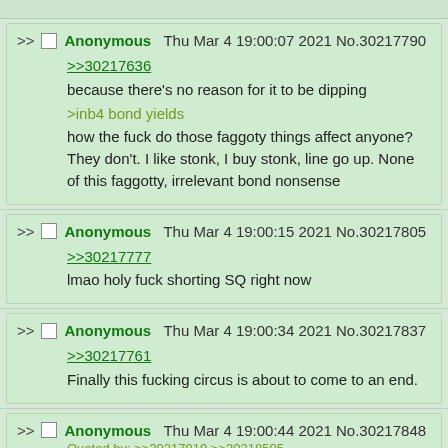Anonymous Thu Mar 4 19:00:07 2021 No.30217790
>>30217636
because there's no reason for it to be dipping
>inb4 bond yields
how the fuck do those faggoty things affect anyone? They don't. I like stonk, I buy stonk, line go up. None of this faggotty, irrelevant bond nonsense
Anonymous Thu Mar 4 19:00:15 2021 No.30217805
>>30217777
lmao holy fuck shorting SQ right now
Anonymous Thu Mar 4 19:00:34 2021 No.30217837
>>30217761
Finally this fucking circus is about to come to an end.
Anonymous Thu Mar 4 19:00:44 2021 No.30217848
Quoted by: >>30217919 >>30218505